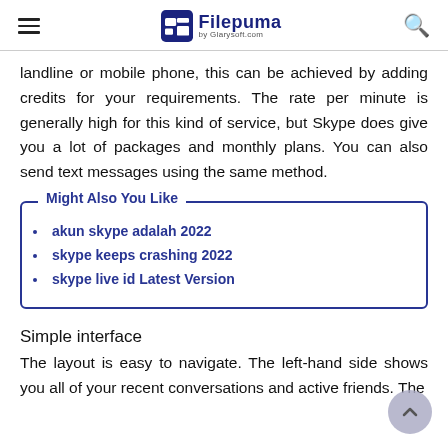Filepuma by Glarysoft.com
landline or mobile phone, this can be achieved by adding credits for your requirements. The rate per minute is generally high for this kind of service, but Skype does give you a lot of packages and monthly plans. You can also send text messages using the same method.
akun skype adalah 2022
skype keeps crashing 2022
skype live id Latest Version
Simple interface
The layout is easy to navigate. The left-hand side shows you all of your recent conversations and active friends. The